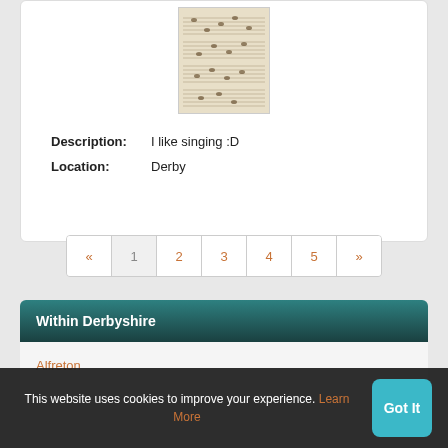[Figure (illustration): Thumbnail image of handwritten sheet music / musical notation on aged paper]
Description: I like singing :D
Location: Derby
« 1 2 3 4 5 »
Within Derbyshire
Alfreton
This website uses cookies to improve your experience. Learn More
Got It